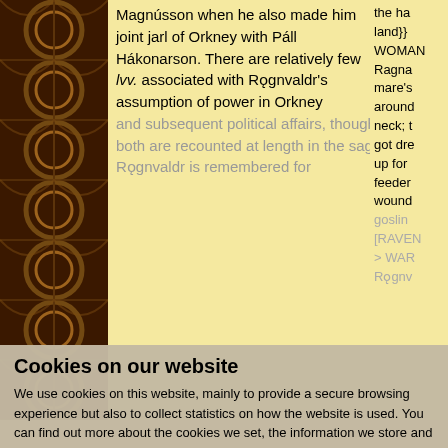[Figure (illustration): Dark brown decorative Celtic/Norse knotwork ornament panel on left edge]
Magnússon when he also made him joint jarl of Orkney with Páll Hákonarson. There are relatively few lvv. associated with Rǫgnvaldr's assumption of power in Orkney
and subsequent political affairs, though both are recounted at length in the saga.
Rǫgnvaldr is remembered for
the ha land}} WOMAN Ragna mare's around neck; t got dre up for feeder wound goslin [RAVEN > WAR Rǫgnv
Cookies on our website
We use cookies on this website, mainly to provide a secure browsing experience but also to collect statistics on how the website is used. You can find out more about the cookies we set, the information we store and how we use it on the cookies page.
Continue